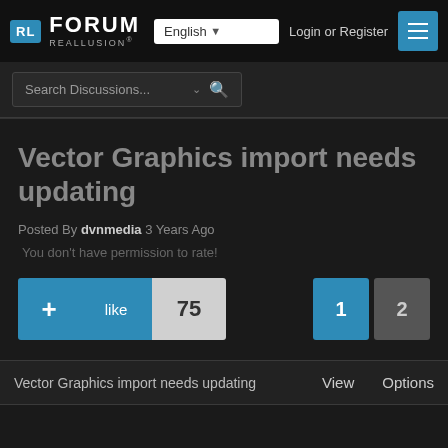RL FORUM REALLUSION | English | Login or Register
Search Discussions...
Vector Graphics import needs updating
Posted By dvnmedia 3 Years Ago
You don't have permission to rate!
+ like 75 | 1 2
Vector Graphics import needs updating   View   Options